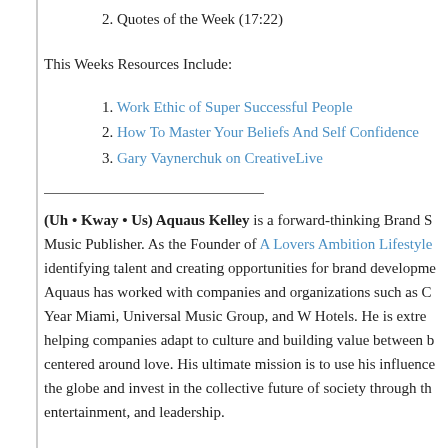2. Quotes of the Week (17:22)
This Weeks Resources Include:
1. Work Ethic of Super Successful People
2. How To Master Your Beliefs And Self Confidence
3. Gary Vaynerchuk on CreativeLive
(Uh • Kway • Us) Aquaus Kelley is a forward-thinking Brand S... Music Publisher. As the Founder of A Lovers Ambition Lifestyle... identifying talent and creating opportunities for brand developme... Aquaus has worked with companies and organizations such as C... Year Miami, Universal Music Group, and W Hotels. He is extre... helping companies adapt to culture and building value between b... centered around love. His ultimate mission is to use his influence... the globe and invest in the collective future of society through th... entertainment, and leadership.